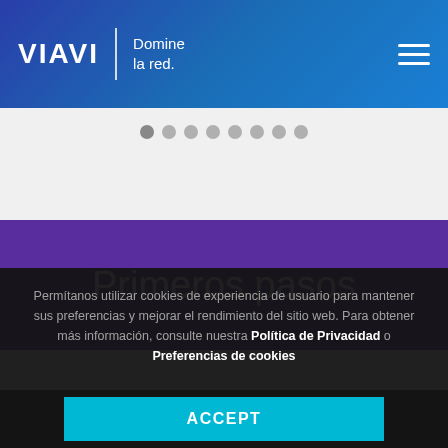VIAVI | Domine la red.
[Figure (screenshot): Slider pagination dots — 8 circles, first one darker (active)]
Primeros pasos
Permítanos utilizar cookies de experiencia de usuario para mantener sus preferencias y mejorar el rendimiento del sitio web. Para obtener más información, consulte nuestra Política de Privacidad o Preferencias de cookies
ACCEPT